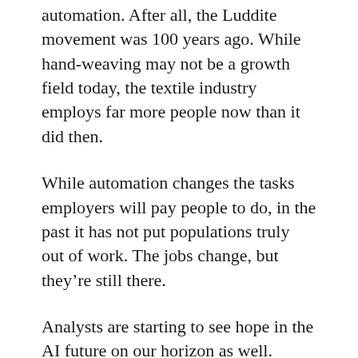automation. After all, the Luddite movement was 100 years ago. While hand-weaving may not be a growth field today, the textile industry employs far more people now than it did then.
While automation changes the tasks employers will pay people to do, in the past it has not put populations truly out of work. The jobs change, but they’re still there.
Analysts are starting to see hope in the AI future on our horizon as well.
USA Today recently ran a special report on the impact of automation across the U.S. economy. And while some of the stats in it are eye-